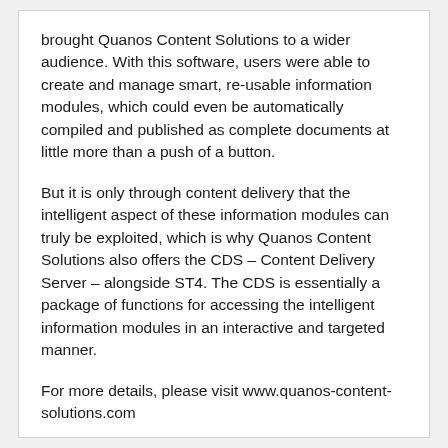brought Quanos Content Solutions to a wider audience. With this software, users were able to create and manage smart, re-usable information modules, which could even be automatically compiled and published as complete documents at little more than a push of a button.
But it is only through content delivery that the intelligent aspect of these information modules can truly be exploited, which is why Quanos Content Solutions also offers the CDS – Content Delivery Server – alongside ST4. The CDS is essentially a package of functions for accessing the intelligent information modules in an interactive and targeted manner.
For more details, please visit www.quanos-content-solutions.com